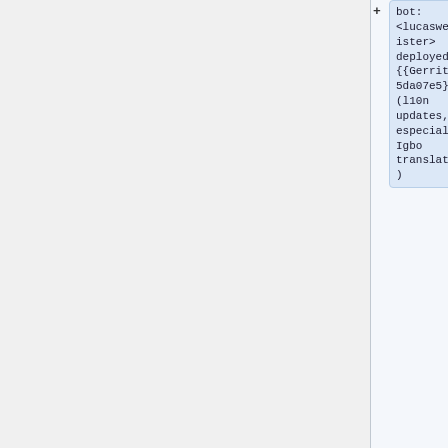bot:
<lucaswerkmeister>
deployed
{{Gerrit|5565da07e5}}
(l10n
updates,
especially
Igbo
translations
)
=== 2021-06-22 ===
* 19:37 wm-bot:
<lucaswerkmeister>
deployed